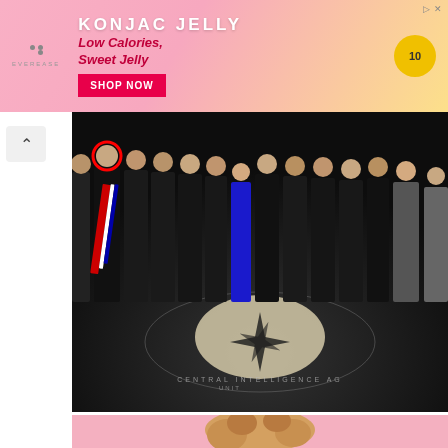[Figure (other): Pink advertisement banner for KONJAC JELLY product by Everease. Text reads 'KONJAC JELLY Low Calories, Sweet Jelly' with a 'SHOP NOW' button and a yellow badge with '10'.]
[Figure (photo): Group of people in formal attire standing in front of/on the CIA (Central Intelligence Agency) headquarters lobby floor seal. One person on the left is circled in red. The CIA eagle/compass rose seal is visible on the floor.]
Biden Probably Wants This Video Destroyed - Us Dollar on Path Towards Replacemen
rickardsmasterclass.com
[Figure (photo): Partial view of a person with curly blonde hair against a pink background.]